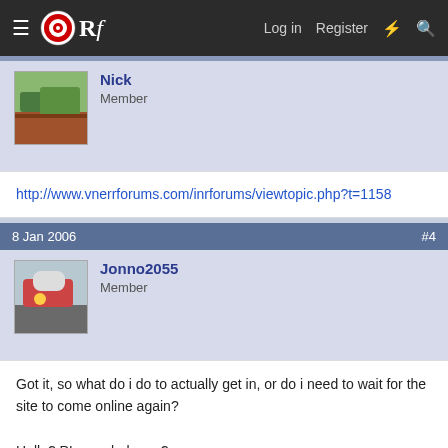ORf  Log in  Register
Nick
Member
http://www.vnerrforums.com/inrforums/viewtopic.php?t=1158
8 Jan 2006  #4
Jonno2055
Member
Got it, so what do i do to actually get in, or do i need to wait for the site to come online again?

Hello? PLease help me?
8 Jan 2006  #5